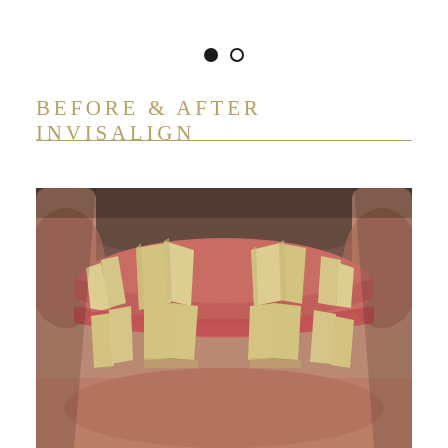[Figure (other): Two navigation dots: one filled black, one empty circle outline, indicating a slideshow position indicator]
BEFORE & AFTER INVISALIGN
[Figure (photo): Close-up intraoral photograph showing misaligned, crowded teeth (before Invisalign treatment). Upper teeth show significant crowding and rotation. Lower teeth also crowded. Teeth appear yellowish. Gums and surrounding oral tissue visible.]